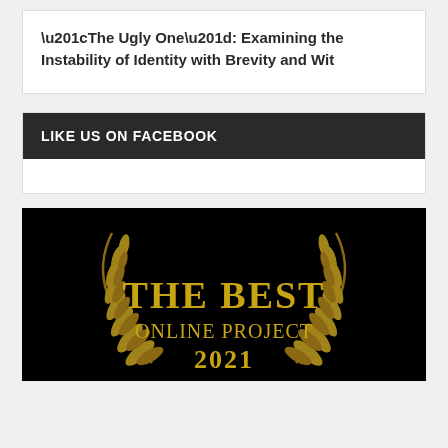“The Ugly One”: Examining the Instability of Identity with Brevity and Wit
LIKE US ON FACEBOOK
[Figure (logo): Award badge on black background with gold laurel wreath and text: THE BEST ONLINE PROJECT 2021]